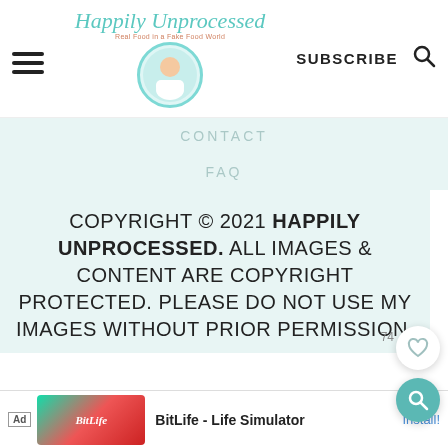Happily Unprocessed — SUBSCRIBE
CONTACT
FAQ
COPYRIGHT © 2021 HAPPILY UNPROCESSED. ALL IMAGES & CONTENT ARE COPYRIGHT PROTECTED. PLEASE DO NOT USE MY IMAGES WITHOUT PRIOR PERMISSION.
AN ELITE CAFEMEDIA FOOD PUBLISHER
[Figure (screenshot): Ad banner: BitLife - Life Simulator with Install button]